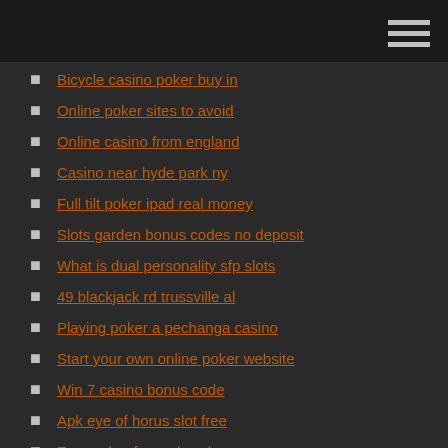Bicycle casino poker buy in
Online poker sites to avoid
Online casino from england
Casino near hyde park ny
Full tilt poker ipad real money
Slots garden bonus codes no deposit
What is dual personality sfp slots
49 blackjack rd trussville al
Playing poker a pechanga casino
Start your own online poker website
Win 7 casino bonus code
Apk eye of horus slot free
Free poker for real cash
Logiciel tournoi poker pour mac